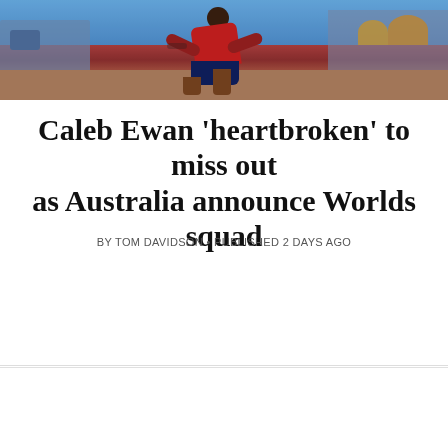[Figure (photo): Cyclist in red kit racing, crowd in background with blue/orange colors]
Caleb Ewan 'heartbroken' to miss out as Australia announce Worlds squad
BY TOM DAVIDSON • PUBLISHED 2 DAYS AGO